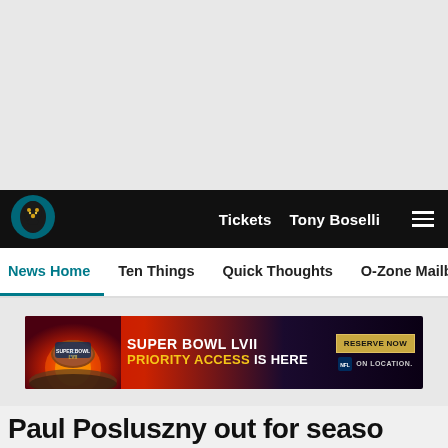Jacksonville Jaguars navigation bar with logo, Tickets, Tony Boselli, and menu
News Home | Ten Things | Quick Thoughts | O-Zone Mailbag | Ros...
[Figure (screenshot): Super Bowl LVII Priority Access Is Here advertisement banner with football image, gold RESERVE NOW button, and On Location logo]
Paul Posluszny out for seaso...
Social share icons: Facebook, Twitter, Email, Link